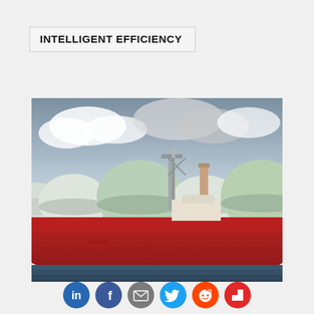INTELLIGENT EFFICIENCY
[Figure (photo): LNG tanker ship with large spherical storage tanks at an industrial port facility. The ship has a red hull and is moored at the dock. Multiple dome-shaped white and green storage tanks are visible behind the vessel against a cloudy sky.]
[Figure (infographic): Row of social media sharing icons: LinkedIn (blue), Facebook (blue), Email/envelope (gray), Twitter (cyan), Reddit (orange), Flipboard (red)]